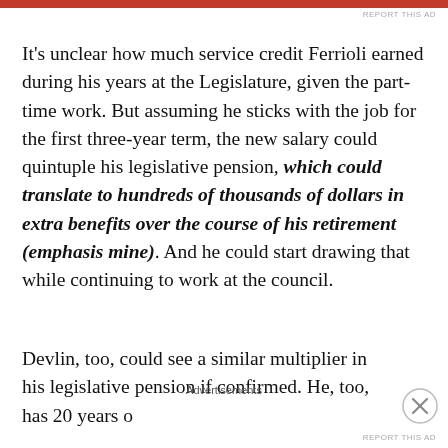It's unclear how much service credit Ferrioli earned during his years at the Legislature, given the part-time work. But assuming he sticks with the job for the first three-year term, the new salary could quintuple his legislative pension, which could translate to hundreds of thousands of dollars in extra benefits over the course of his retirement (emphasis mine). And he could start drawing that while continuing to work at the council.
Devlin, too, could see a similar multiplier in his legislative pension if confirmed. He, too, has 20 years o…
Advertisements